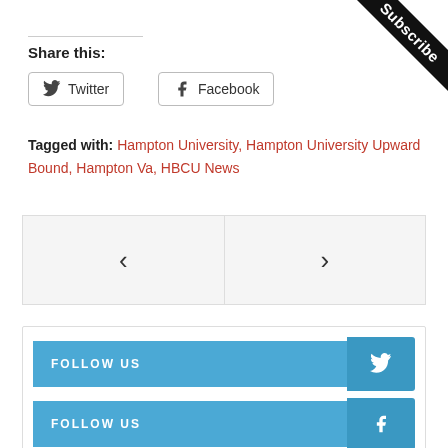[Figure (other): Black corner banner with white 'Subscribe' text rotated diagonally in top-right corner]
Share this:
Twitter (button)
Facebook (button)
Tagged with: Hampton University, Hampton University Upward Bound, Hampton Va, HBCU News
[Figure (other): Navigation arrows: left chevron < and right chevron > side by side in gray boxes]
[Figure (other): Two FOLLOW US bars with Twitter bird icon and Facebook f icon, both in blue]
FOLLOW US
FOLLOW US